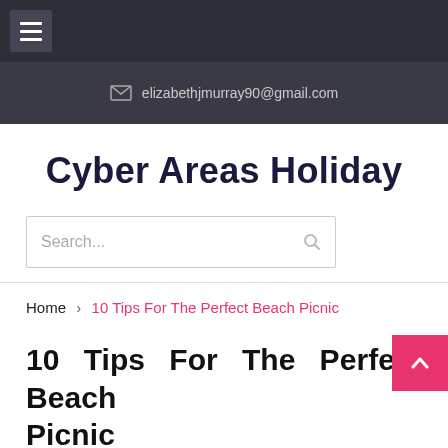≡ (hamburger menu)
✉ elizabethjmurray90@gmail.com
Cyber Areas Holiday
Search...
Home > 10 Tips For The Perfect Beach Picnic
10 Tips For The Perfect Beach Picnic